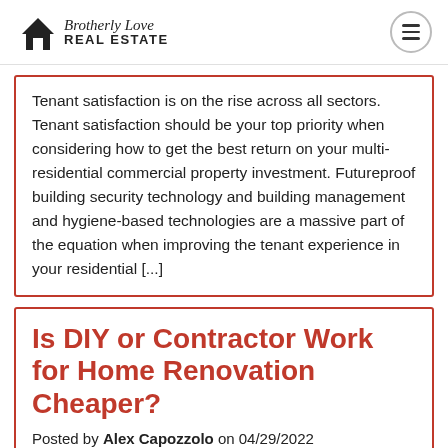Brotherly Love REAL ESTATE
Tenant satisfaction is on the rise across all sectors. Tenant satisfaction should be your top priority when considering how to get the best return on your multi-residential commercial property investment. Futureproof building security technology and building management and hygiene-based technologies are a massive part of the equation when improving the tenant experience in your residential [...]
Is DIY or Contractor Work for Home Renovation Cheaper?
Posted by Alex Capozzolo on 04/29/2022